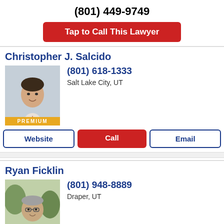(801) 449-9749
Tap to Call This Lawyer
Christopher J. Salcido
[Figure (photo): Headshot of Christopher J. Salcido, a man in a dark suit, with PREMIUM badge]
(801) 618-1333
Salt Lake City, UT
Website
Call
Email
Ryan Ficklin
[Figure (photo): Headshot of Ryan Ficklin, a man in a suit, with PREMIUM badge]
(801) 948-8889
Draper, UT
Website
Call
Email